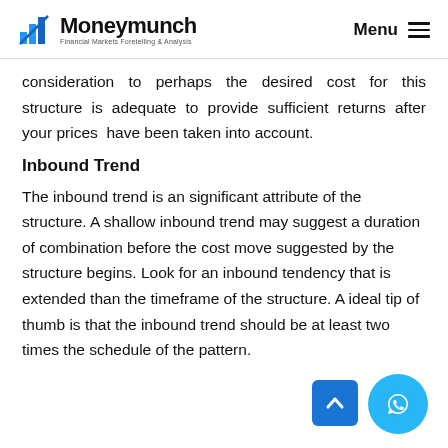Moneymunch — Financial Markets Foretelling & Analysis | Menu
consideration to perhaps the desired cost for this structure is adequate to provide sufficient returns after your prices have been taken into account.
Inbound Trend
The inbound trend is an significant attribute of the structure. A shallow inbound trend may suggest a duration of combination before the cost move suggested by the structure begins. Look for an inbound tendency that is extended than the timeframe of the structure. A ideal tip of thumb is that the inbound trend should be at least two times the schedule of the pattern.